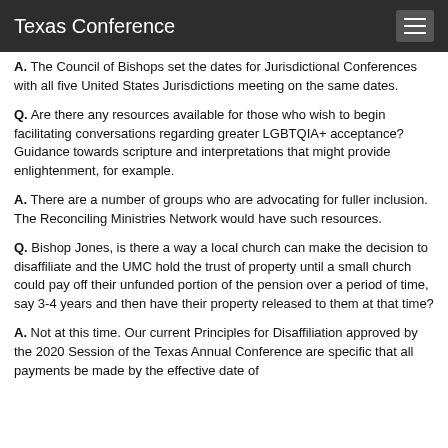Texas Conference
A. The Council of Bishops set the dates for Jurisdictional Conferences with all five United States Jurisdictions meeting on the same dates.
Q. Are there any resources available for those who wish to begin facilitating conversations regarding greater LGBTQIA+ acceptance? Guidance towards scripture and interpretations that might provide enlightenment, for example.
A. There are a number of groups who are advocating for fuller inclusion. The Reconciling Ministries Network would have such resources.
Q. Bishop Jones, is there a way a local church can make the decision to disaffiliate and the UMC hold the trust of property until a small church could pay off their unfunded portion of the pension over a period of time, say 3-4 years and then have their property released to them at that time?
A. Not at this time. Our current Principles for Disaffiliation approved by the 2020 Session of the Texas Annual Conference are specific that all payments be made by the effective date of disaffiliation.